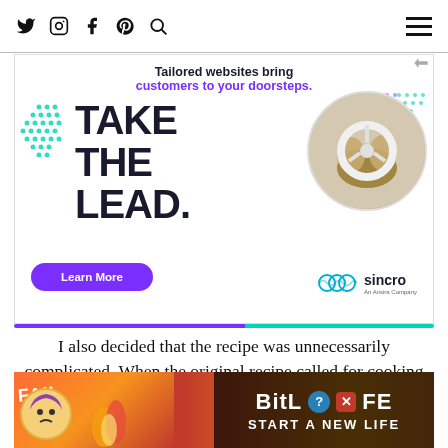Social media icons: Twitter, Instagram, Facebook, Pinterest, Search | Hamburger menu
make all the difference.
[Figure (other): Advertisement banner for Sincro: 'Tailored websites bring customers to your doorsteps.' with TAKE THE LEAD. headline, Learn More button, circular car/driver image, and Sincro logo]
I also decided that the recipe was unnecessarily complicated. When the original recipe called for cooking the veggies and chicken before putting them in the crock pot fo... quick sear on... use of
[Figure (other): BitLife advertisement: FAIL character, flames, START A NEW LIFE text on red/yellow background]